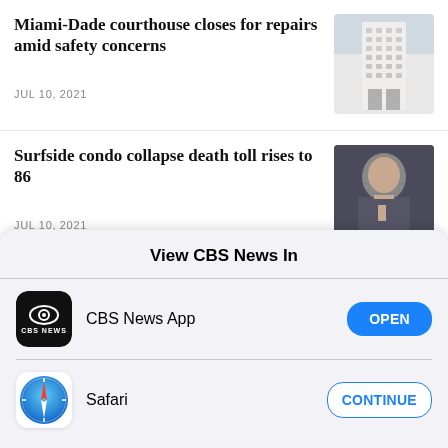[Figure (photo): Partial image of a snowy or wintry scene, cropped at top right]
Miami-Dade courthouse closes for repairs amid safety concerns
JUL 10, 2021
[Figure (photo): Photo of a tall white courthouse building]
Surfside condo collapse death toll rises to 86
JUL 10, 2021
[Figure (photo): Photo of a grieving woman]
View CBS News In
[Figure (logo): CBS News App icon — black rounded square with CBS eye logo]
CBS News App
[Figure (logo): Safari browser icon — blue compass circle]
Safari